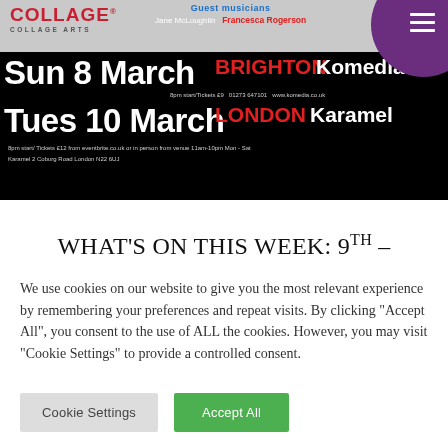[Figure (photo): Event poster/banner for Collage Arts showing two concert events: Sun 8 March at Brighton Komedia and Tues 10 March at London Karamel, with guest musicians Jane McLoughlin and Francesca Rogerson listed at the top. Black background with white and red text, Collage Arts logo top left, purple circle and hamburger menu top right.]
WHAT'S ON THIS WEEK: 9TH –
We use cookies on our website to give you the most relevant experience by remembering your preferences and repeat visits. By clicking "Accept All", you consent to the use of ALL the cookies. However, you may visit "Cookie Settings" to provide a controlled consent.